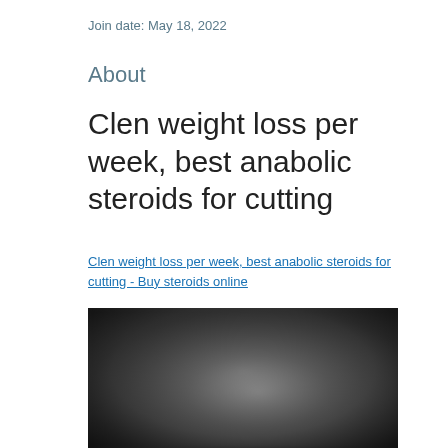Join date: May 18, 2022
About
Clen weight loss per week, best anabolic steroids for cutting
Clen weight loss per week, best anabolic steroids for cutting - Buy steroids online
[Figure (photo): A dark, blurred photograph, possibly showing a person or product in low-light conditions]